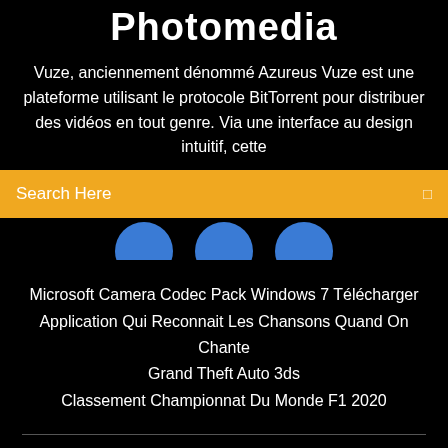Photomedia
Vuze, anciennement dénommé Azureus Vuze est une plateforme utilisant le protocole BitTorrent pour distribuer des vidéos en tout genre. Via une interface au design intuitif, cette
Search Here
[Figure (illustration): Three blue circles partially visible at the bottom of the search bar area]
Microsoft Camera Codec Pack Windows 7 Télécharger
Application Qui Reconnait Les Chansons Quand On Chante
Grand Theft Auto 3ds
Classement Championnat Du Monde F1 2020